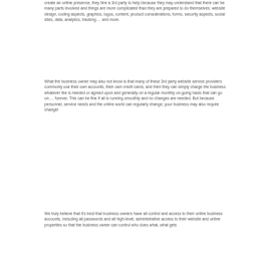create an online presence, they hire a 3rd party to help because they may understand that there can be many parts involved and things are more complicated than they are prepared to do themselves: website design, coding aspects, graphics, logos, content, product considerations, forms, security aspects, social sites, data, analytics, tracking…. and more.
What the business owner may also not know is that many of these 3rd party website service providers commonly use their own accounts, their own credit cards, and then they can simply charge the business whatever fee is needed or agreed upon and generally on a regular monthly on-going basis that can go on…. forever. This can be fine if all is running smoothly and no changes are needed. But because personnel, service needs and the online world can regularly change, your business may also require change!
We truly believe that it's best that business owners have all control and access to their online business accounts, including all passwords and all high-level, administrative access to their website and online properties so that the business owner can control who does what, what gets